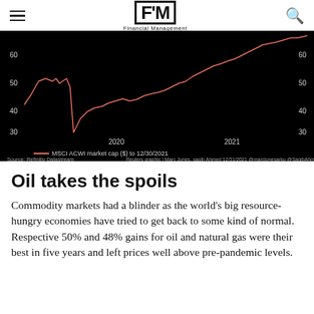FM Financial Management
[Figure (continuous-plot): Line chart on black background showing MSCI ACWI market cap ($) to 12/30/2021. The salmon/coral colored line rises from ~40 in early 2019, drops sharply to ~30 in 2020, then recovers and climbs to ~60 by 2021. Y-axis labels: 30, 40, 50, 60 on both sides. X-axis labels: 2020, 2021. Legend: MSCI ACWI market cap ($) to 12/30/2021. Source: Refinitiv Datastream. Reuters graphic | Marc Jones, saqib Ahmed 12/31/2021 @marcjonesarko @SaqibAhmedRs]
Oil takes the spoils
Commodity markets had a blinder as the world's big resource-hungry economies have tried to get back to some kind of normal. Respective 50% and 48% gains for oil and natural gas were their best in five years and left prices well above pre-pandemic levels.